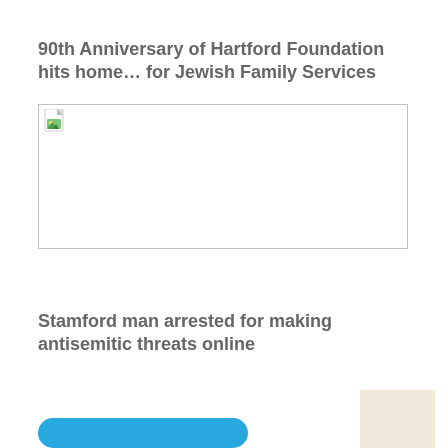90th Anniversary of Hartford Foundation hits home… for Jewish Family Services
[Figure (photo): Broken image placeholder with document icon]
Stamford man arrested for making antisemitic threats online
[Figure (photo): Partial thumbnail image, beige/tan colored]
[Figure (other): Blue rounded button/link element at bottom]